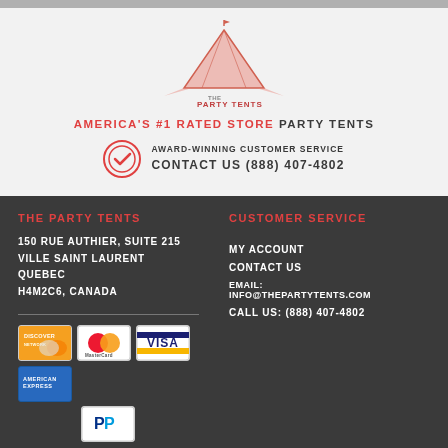[Figure (logo): The Party Tents tent-shaped logo in coral/salmon color with a small flag on top and the text 'THE PARTY TENTS' beneath]
AMERICA'S #1 RATED STORE PARTY TENTS
AWARD-WINNING CUSTOMER SERVICE
CONTACT US (888) 407-4802
THE PARTY TENTS
150 RUE AUTHIER, SUITE 215
VILLE SAINT LAURENT
QUEBEC
H4M2C6, CANADA
[Figure (other): Payment card icons: Discover, MasterCard, Visa, American Express, PayPal]
CUSTOMER SERVICE
MY ACCOUNT
CONTACT US
EMAIL: INFO@THEPARTYTENTS.COM
CALL US: (888) 407-4802